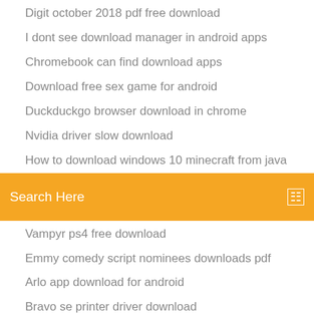Digit october 2018 pdf free download
I dont see download manager in android apps
Chromebook can find download apps
Download free sex game for android
Duckduckgo browser download in chrome
Nvidia driver slow download
How to download windows 10 minecraft from java
[Figure (screenshot): Orange search bar with text 'Search Here' and a search icon on the right]
Vampyr ps4 free download
Emmy comedy script nominees downloads pdf
Arlo app download for android
Bravo se printer driver download
Lathe machine pdf free download
10th class science notes in hindi pdf download
Download gta 5 torrent for pc
Amazing minecraft houses download
Sites for downloading torrents
Android 6.0 frp bypass download for pc